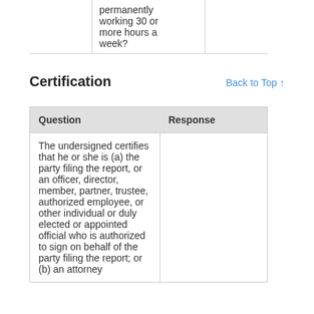|  | Question | Response |
| --- | --- | --- |
|  | permanently working 30 or more hours a week? |  |
Certification
Back to Top ↑
| Question | Response |
| --- | --- |
| The undersigned certifies that he or she is (a) the party filing the report, or an officer, director, member, partner, trustee, authorized employee, or other individual or duly elected or appointed official who is authorized to sign on behalf of the party filing the report; or (b) an attorney |  |